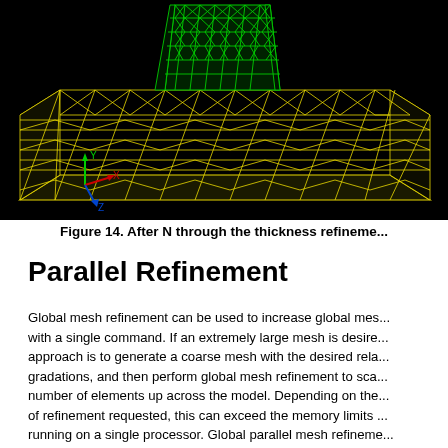[Figure (engineering-diagram): 3D finite element mesh of a rectangular plate with a vertical column/post on top. The plate and column meshes are shown in yellow and green wireframe on a black background. A coordinate axis (Y up, X right, Z forward) is visible in the lower left corner.]
Figure 14. After N through the thickness refineme...
Parallel Refinement
Global mesh refinement can be used to increase global mes... with a single command. If an extremely large mesh is desire... approach is to generate a coarse mesh with the desired rela... gradations, and then perform global mesh refinement to sca... number of elements up across the model. Depending on the... of refinement requested, this can exceed the memory limits ... running on a single processor. Global parallel mesh refineme... refinement to go beyond the memory limits of a single proce... resulting mesh size is only limited by the number of process...